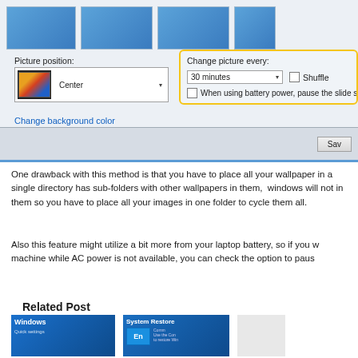[Figure (screenshot): Windows desktop background settings dialog showing Picture position dropdown set to Center, Change picture every set to 30 minutes, Shuffle checkbox, and When using battery power pause the slide show option. A yellow border highlights the Change picture every section.]
One drawback with this method is that you have to place all your wallpapers in a single directory has sub-folders with other wallpapers in them, windows will not include them, so you have to place all your images in one folder to cycle them all.
Also this feature might utilize a bit more from your laptop battery, so if you want to use your machine while AC power is not available, you can check the option to paus...
Related Post